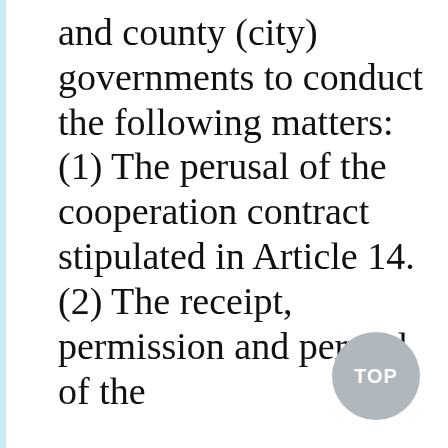and county (city) governments to conduct the following matters: (1) The perusal of the cooperation contract stipulated in Article 14. (2) The receipt, permission and perusal of the